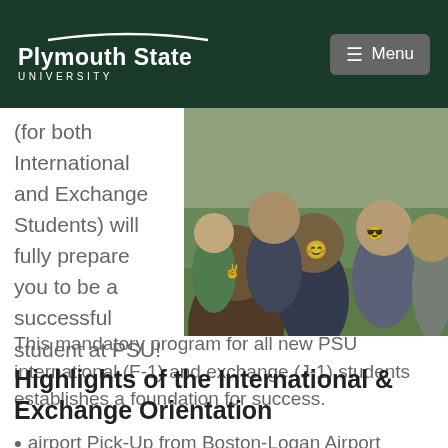Plymouth State University — Menu
(for both International and Exchange Students) will fully prepare you to be a successful student at PSU!  This mandatory program for all new PSU international (F-1) and exchange (J-1) students establishes a foundation for success.
[Figure (photo): Group photo of diverse international students smiling and making peace signs outdoors on a grassy area.]
Highlights of the International & Exchange Orientation
airport Pick-Up from Boston-Logan Airport